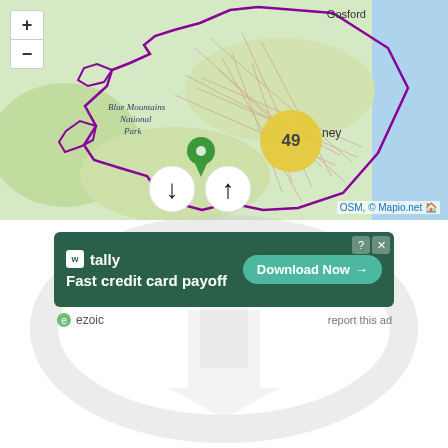[Figure (map): Interactive map showing Greater Sydney region with purple boundary outline, a green location pin, a yellow cluster circle with '49', navigation arrows (up/down), zoom controls (+/-), and text label 'Gosford' and 'Blue Mountains National Park'. Attribution: OSM, © Mapio.net]
[Figure (screenshot): Advertisement banner for Tally app with text 'Fast credit card payoff' and 'Download Now' button on green background. Below: ezoic logo and 'report this ad' link.]